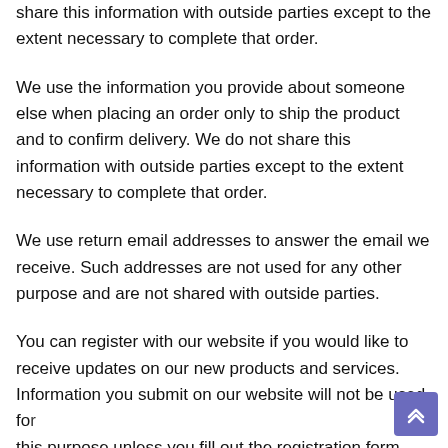share this information with outside parties except to the extent necessary to complete that order.
We use the information you provide about someone else when placing an order only to ship the product and to confirm delivery. We do not share this information with outside parties except to the extent necessary to complete that order.
We use return email addresses to answer the email we receive. Such addresses are not used for any other purpose and are not shared with outside parties.
You can register with our website if you would like to receive updates on our new products and services. Information you submit on our website will not be used for this purpose unless you fill out the registration form. You